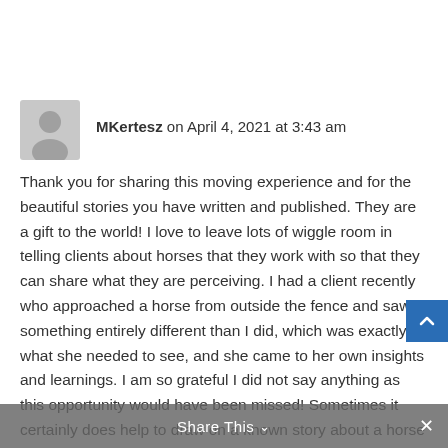MKertesz on April 4, 2021 at 3:43 am
Thank you for sharing this moving experience and for the beautiful stories you have written and published. They are a gift to the world! I love to leave lots of wiggle room in telling clients about horses that they work with so that they can share what they are perceiving. I had a client recently who approached a horse from outside the fence and saw something entirely different than I did, which was exactly what she needed to see, and she came to her own insights and learnings. I am so grateful I did not say anything as this opportunity would have been missed! Sometimes it certainly does help to draw on a known story about a horse as well.... this is the art of our work.
Share This ∨  ✕